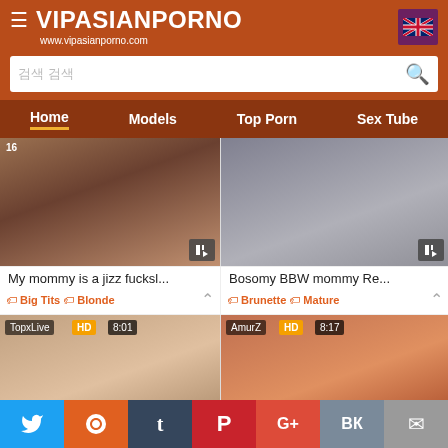VipAsianPorno - www.vipasianporno.com
Home | Models | Top Porn | Sex Tube
[Figure (screenshot): Video thumbnail 1: adult content]
My mommy is a jizz fucksl...
Big Tits | Blonde
[Figure (screenshot): Video thumbnail 2: adult content]
Bosomy BBW mommy Re...
Brunette | Mature
[Figure (screenshot): Video thumbnail 3: TopxLive HD 8:01 adult content]
Twink loving daddy bare p...
Cumshot | Blowjob
[Figure (screenshot): Video thumbnail 4: AmurZ HD 8:17 adult content TOP]
Oiled Up Teen Sumire Mat...
Amateur | Cumshot
Social share bar: Twitter, Reddit, Tumblr, Pinterest, G+, VK, Mail